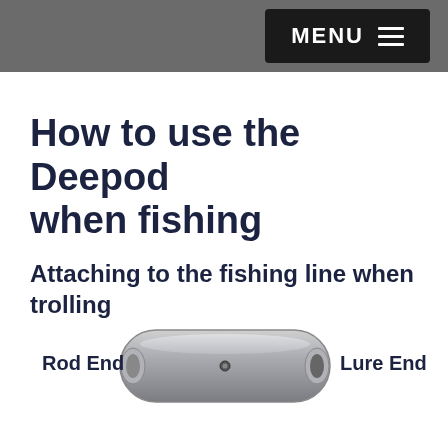MENU
How to use the Deepod when fishing
Attaching to the fishing line when trolling
[Figure (photo): Photo of Deepod fishing device shown from above, labeled with Rod End on the left and Lure End on the right]
Rod End    Lure End